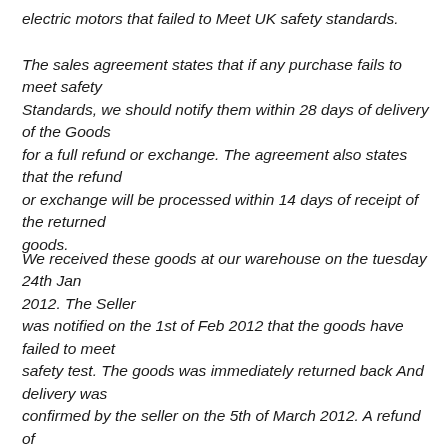electric motors that failed to Meet UK safety standards.
The sales agreement states that if any purchase fails to meet safety Standards, we should notify them within 28 days of delivery of the Goods for a full refund or exchange. The agreement also states that the refund or exchange will be processed within 14 days of receipt of the returned goods.
We received these goods at our warehouse on the tuesday 24th Jan 2012. The Seller was notified on the 1st of Feb 2012 that the goods have failed to meet safety test. The goods was immediately returned back And delivery was confirmed by the seller on the 5th of March 2012. A refund of $450,875.70 was due on or before the 20th of April 2012, but till